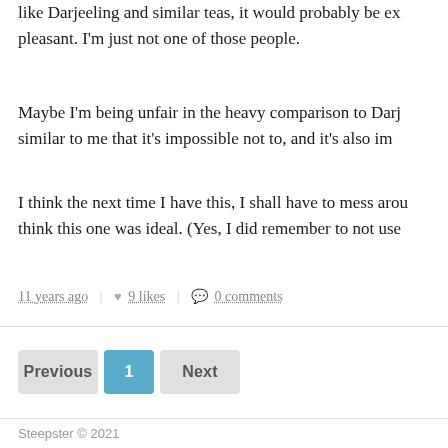like Darjeeling and similar teas, it would probably be ex pleasant. I'm just not one of those people.
Maybe I'm being unfair in the heavy comparison to Darj similar to me that it's impossible not to, and it's also im
I think the next time I have this, I shall have to mess arou think this one was ideal. (Yes, I did remember to not use
11 years ago | ♥ 9 likes | 💬 0 comments
Previous 1 Next
Steepster © 2021